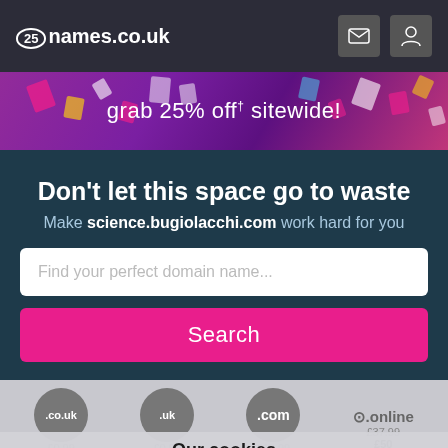[Figure (screenshot): names.co.uk website header with logo and navigation icons (envelope and person)]
[Figure (screenshot): Promotional banner with colorful shapes and text 'grab 25% off sitewide!']
Don’t let this space go to waste
Make science.bugiolacchi.com work hard for you
[Figure (screenshot): Search input box with placeholder text 'Find your perfect domain name...']
[Figure (screenshot): Pink Search button]
[Figure (screenshot): Cookie notice overlay with domain extension pills (.co.uk, .uk, .com, .online) and pricing text]
Our cookies
This website uses cookies to help improve your experience. By using our website you accept our Privacy Policy and use of